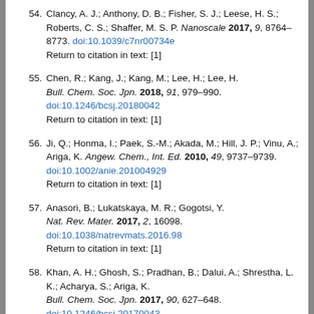54. Clancy, A. J.; Anthony, D. B.; Fisher, S. J.; Leese, H. S.; Roberts, C. S.; Shaffer, M. S. P. Nanoscale 2017, 9, 8764–8773. doi:10.1039/c7nr00734e Return to citation in text: [1]
55. Chen, R.; Kang, J.; Kang, M.; Lee, H.; Lee, H. Bull. Chem. Soc. Jpn. 2018, 91, 979–990. doi:10.1246/bcsj.20180042 Return to citation in text: [1]
56. Ji, Q.; Honma, I.; Paek, S.-M.; Akada, M.; Hill, J. P.; Vinu, A.; Ariga, K. Angew. Chem., Int. Ed. 2010, 49, 9737–9739. doi:10.1002/anie.201004929 Return to citation in text: [1]
57. Anasori, B.; Lukatskaya, M. R.; Gogotsi, Y. Nat. Rev. Mater. 2017, 2, 16098. doi:10.1038/natrevmats.2016.98 Return to citation in text: [1]
58. Khan, A. H.; Ghosh, S.; Pradhan, B.; Dalui, A.; Shrestha, L. K.; Acharya, S.; Ariga, K. Bull. Chem. Soc. Jpn. 2017, 90, 627–648. doi:10.1246/bcsj.20170043